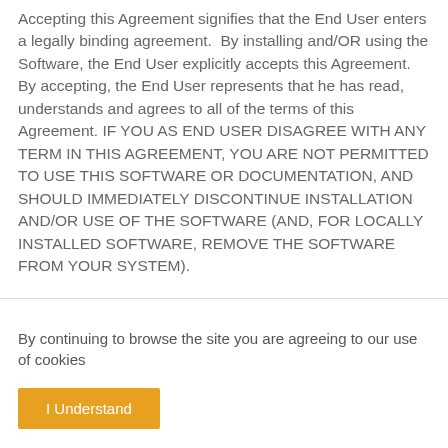Accepting this Agreement signifies that the End User enters a legally binding agreement.  By installing and/OR using the Software, the End User explicitly accepts this Agreement.  By accepting, the End User represents that he has read, understands and agrees to all of the terms of this Agreement. IF YOU AS END USER DISAGREE WITH ANY TERM IN THIS AGREEMENT, YOU ARE NOT PERMITTED TO USE THIS SOFTWARE OR DOCUMENTATION, AND SHOULD IMMEDIATELY DISCONTINUE INSTALLATION AND/OR USE OF THE SOFTWARE (AND, FOR LOCALLY INSTALLED SOFTWARE, REMOVE THE SOFTWARE FROM YOUR SYSTEM).
By continuing to browse the site you are agreeing to our use of cookies
I Understand